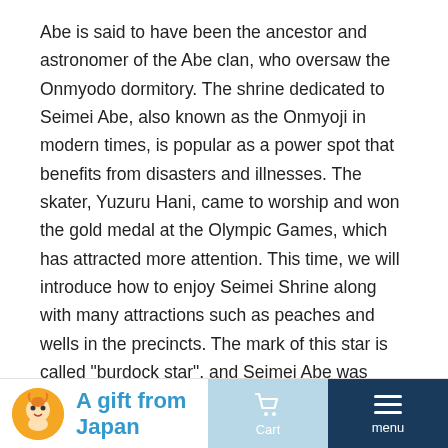Abe is said to have been the ancestor and astronomer of the Abe clan, who oversaw the Onmyodo dormitory. The shrine dedicated to Seimei Abe, also known as the Onmyoji in modern times, is popular as a power spot that benefits from disasters and illnesses. The skater, Yuzuru Hani, came to worship and won the gold medal at the Olympic Games, which has attracted more attention. This time, we will introduce how to enjoy Seimei Shrine along with many attractions such as peaches and wells in the precincts. The mark of this star is called "burdock star", and Seimei Abe was used for the Onmyodo. Seimei Abe used this star mark as a talisman. Seimei Shrine is a moderately sized shrine facing Horikawa-dori. In the precincts, there are many shrines related to Seimei, such as the statue of Seimei...
more >>
A gift from Japan | Cart | menu